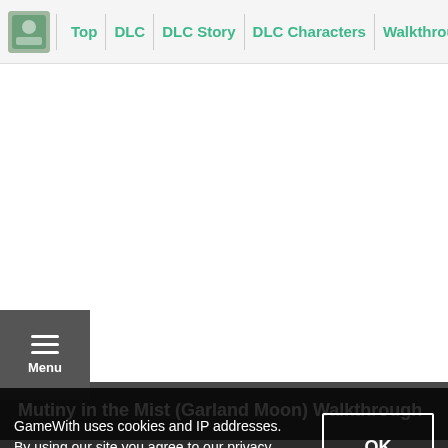Top | DLC | DLC Story | DLC Characters | Walkthrough
[Figure (screenshot): Large white empty content area]
Menu
Mutiny in the Mist (Garland Moon) Walkthrough
GameWith uses cookies and IP addresses. By using our site you agree to our privacy policy.
OK